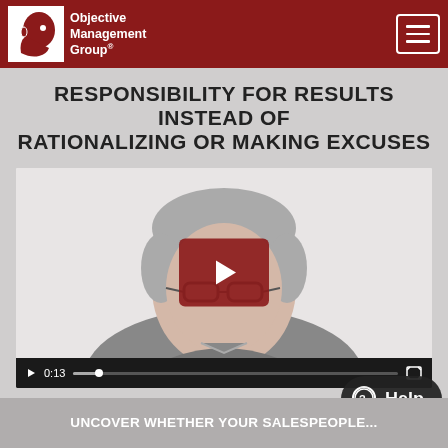Objective Management Group®
RESPONSIBILITY FOR RESULTS INSTEAD OF RATIONALIZING OR MAKING EXCUSES
[Figure (screenshot): Video player showing a man with gray hair and glasses wearing a gray sweater, with a dark red play button overlay in the center and video controls at the bottom showing timestamp 0:13]
UNCOVER WHETHER YOUR SALESPEOPLE...